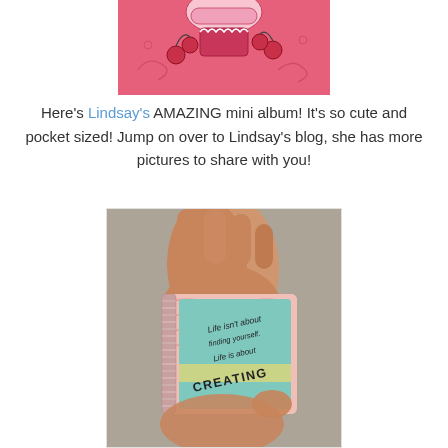[Figure (photo): A pink decorative card or mini album cover with cupcake and cherry motifs, photographed from above on a white background.]
Here's Lindsay's AMAZING mini album! It's so cute and pocket sized! Jump on over to Lindsay's blog, she has more pictures to share with you!
[Figure (photo): A hand holding a small pocket-sized mini album with pink patterned cover and a teal front cover reading 'Life isn't about finding yourself. Life is about CREATING'.]